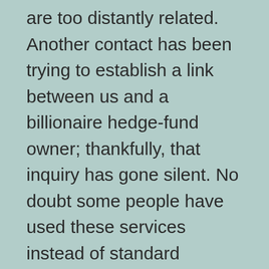are too distantly related. Another contact has been trying to establish a link between us and a billionaire hedge-fund owner; thankfully, that inquiry has gone silent. No doubt some people have used these services instead of standard paternity testing, and I have reason to believe an oral sample doesn't need as much scrubbing as the instructions recommend. Padlock your toothbrush if that worries you.
Besides filling the missing names on a family tree, tracing ancestors back for say seven generations to the 17th century reveals many interesting details and documents. For